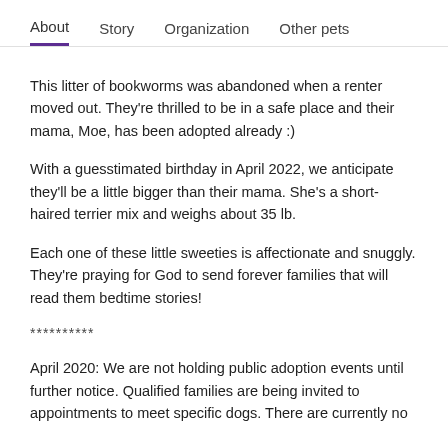About  Story  Organization  Other pets
This litter of bookworms was abandoned when a renter moved out. They're thrilled to be in a safe place and their mama, Moe, has been adopted already :)
With a guesstimated birthday in April 2022, we anticipate they'll be a little bigger than their mama. She's a short-haired terrier mix and weighs about 35 lb.
Each one of these little sweeties is affectionate and snuggly. They're praying for God to send forever families that will read them bedtime stories!
**********
April 2020: We are not holding public adoption events until further notice. Qualified families are being invited to appointments to meet specific dogs. There are currently no